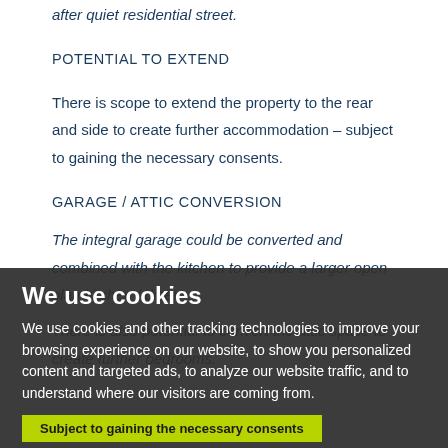after quiet residential street.
POTENTIAL TO EXTEND
There is scope to extend the property to the rear and side to create further accommodation – subject to gaining the necessary consents.
GARAGE / ATTIC CONVERSION
The integral garage could be converted and combined with the kitchen to provide a larger open plan kitchen / diner
There is also potential to convert the attic space to create further bedrooms.
Subject to gaining the necessary consents
We use cookies
We use cookies and other tracking technologies to improve your browsing experience on our website, to show you personalized content and targeted ads, to analyze our website traffic, and to understand where our visitors are coming from.